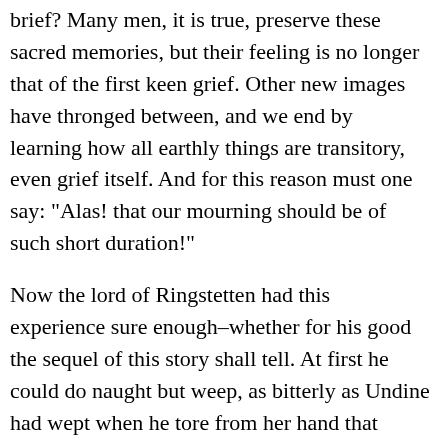brief? Many men, it is true, preserve these sacred memories, but their feeling is no longer that of the first keen grief. Other new images have thronged between, and we end by learning how all earthly things are transitory, even grief itself. And for this reason must one say: "Alas! that our mourning should be of such short duration!"
Now the lord of Ringstetten had this experience sure enough–whether for his good the sequel of this story shall tell. At first he could do naught but weep, as bitterly as Undine had wept when he tore from her hand that bright trinket which was to mend all that was